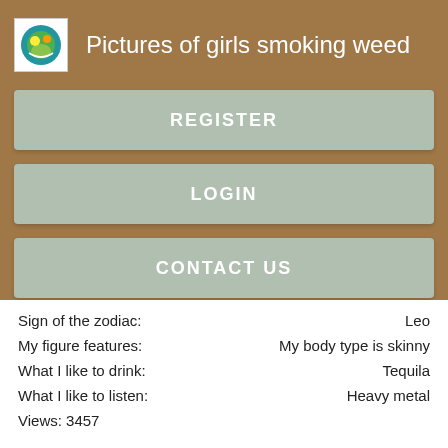[Figure (logo): App logo icon with colorful design on white background]
Pictures of girls smoking weed
REGISTER
LOGIN
CONTACT US
Sign of the zodiac: Leo
My figure features: My body type is skinny
What I like to drink: Tequila
What I like to listen: Heavy metal
Views: 3457